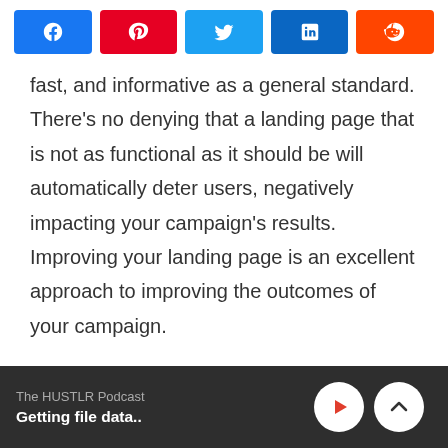[Figure (other): Social share buttons row: Facebook (blue), Pinterest (red), Twitter (light blue), LinkedIn (dark blue), Reddit (orange-red)]
fast, and informative as a general standard. There's no denying that a landing page that is not as functional as it should be will automatically deter users, negatively impacting your campaign's results. Improving your landing page is an excellent approach to improving the outcomes of your campaign.

When it comes to creating strong and dedicated landing pages, you can take
The HUSTLR Podcast
Getting file data..